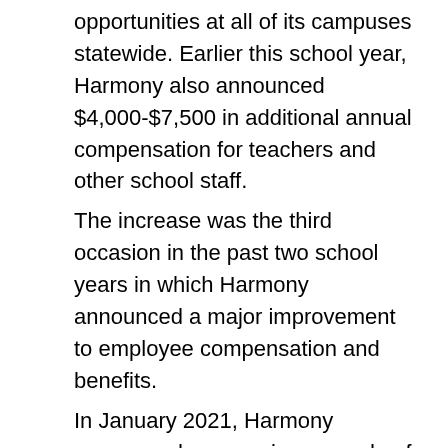opportunities at all of its campuses statewide. Earlier this school year, Harmony also announced $4,000-$7,500 in additional annual compensation for teachers and other school staff.
The increase was the third occasion in the past two school years in which Harmony announced a major improvement to employee compensation and benefits.
In January 2021, Harmony announced a sweeping upgrade of its employer-paid benefits that provided free vision and dental plans to all full-time employees, introduced matching retirement plan contributions for 403(b) and (457(b) participants, and increased life insurance payouts from $20,000 to